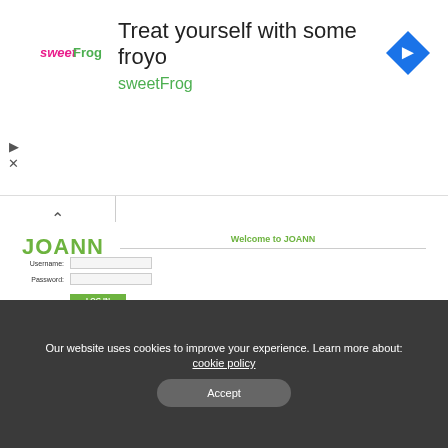[Figure (screenshot): sweetFrog advertisement banner with logo, text 'Treat yourself with some froyo' and navigation icon]
[Figure (screenshot): JOANN employee login page with username/password fields, LOG IN button, and Forgot Password link]
Our website uses cookies to improve your experience. Learn more about: cookie policy
Accept